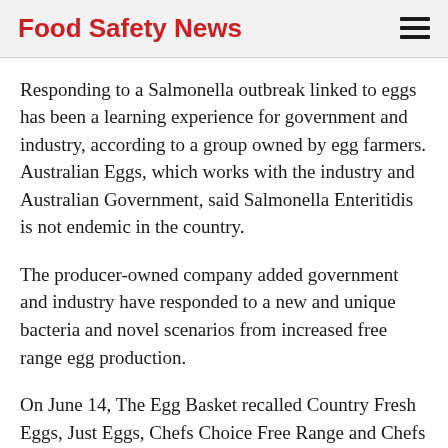Food Safety News
Responding to a Salmonella outbreak linked to eggs has been a learning experience for government and industry, according to a group owned by egg farmers. Australian Eggs, which works with the industry and Australian Government, said Salmonella Enteritidis is not endemic in the country.
The producer-owned company added government and industry have responded to a new and unique bacteria and novel scenarios from increased free range egg production.
On June 14, The Egg Basket recalled Country Fresh Eggs, Just Eggs, Chefs Choice Free Range and Chefs